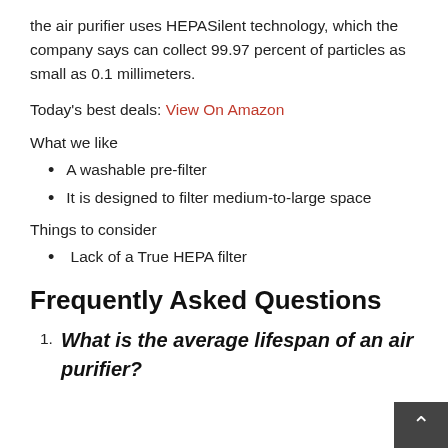the air purifier uses HEPASilent technology, which the company says can collect 99.97 percent of particles as small as 0.1 millimeters.
Today's best deals: View On Amazon
What we like
A washable pre-filter
It is designed to filter medium-to-large space
Things to consider
Lack of a True HEPA filter
Frequently Asked Questions
What is the average lifespan of an air purifier?